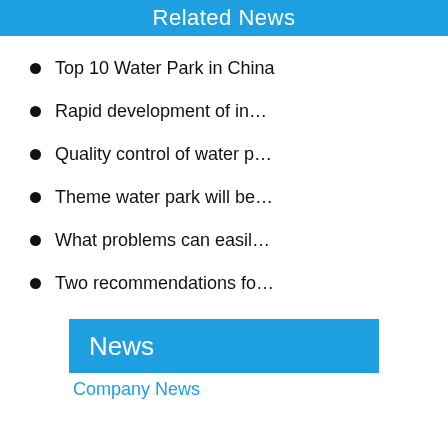Related News
Top 10 Water Park in China
Rapid development of in…
Quality control of water p…
Theme water park will be…
What problems can easil…
Two recommendations fo…
News
Company News